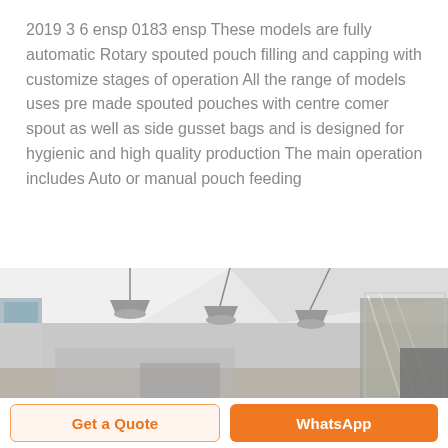2019 3 6 ensp 0183 ensp These models are fully automatic Rotary spouted pouch filling and capping with customize stages of operation All the range of models uses pre made spouted pouches with centre comer spout as well as side gusset bags and is designed for hygienic and high quality production The main operation includes Auto or manual pouch feeding
[Figure (photo): Interior of an industrial/factory facility showing ceiling with hanging pendant lights and equipment including machinery wrapped in plastic on the right side.]
Get a Quote
WhatsApp